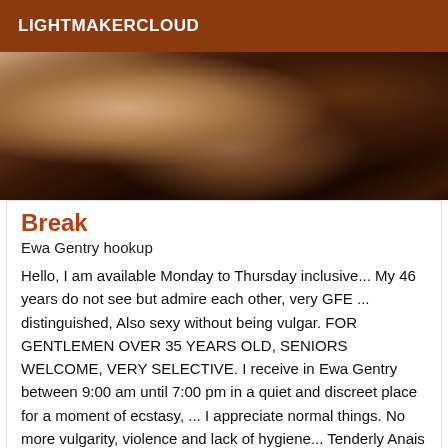LIGHTMAKERCLOUD
[Figure (photo): Dark photograph, partially showing a person in a dimly lit room]
Break
Ewa Gentry hookup
Hello, I am available Monday to Thursday inclusive... My 46 years do not see but admire each other, very GFE ... distinguished, Also sexy without being vulgar. FOR GENTLEMEN OVER 35 YEARS OLD, SENIORS WELCOME, VERY SELECTIVE. I receive in Ewa Gentry between 9:00 am until 7:00 pm in a quiet and discreet place for a moment of ecstasy, ... I appreciate normal things. No more vulgarity, violence and lack of hygiene... Tenderly Anais WARNING: no response to hidden numbers. SMS. DO NOT RESPOND TO MAILS. THANK